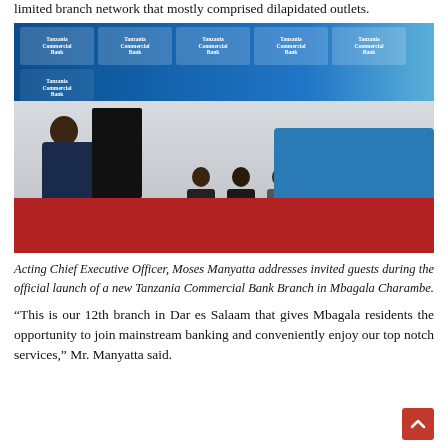limited branch network that mostly comprised dilapidated outlets.
[Figure (photo): Acting Chief Executive Officer Moses Manyatta speaking at a podium during the official launch of a new Tanzania Commercial Bank Branch in Mbagala Charambe. A Tanzania Commercial Bank branded backdrop is visible. Several guests are seated at a table to the right. Red carpet on the floor.]
Acting Chief Executive Officer, Moses Manyatta addresses invited guests during the official launch of a new Tanzania Commercial Bank Branch in Mbagala Charambe.
“This is our 12th branch in Dar es Salaam that gives Mbagala residents the opportunity to join mainstream banking and conveniently enjoy our top notch services,” Mr. Manyatta said.